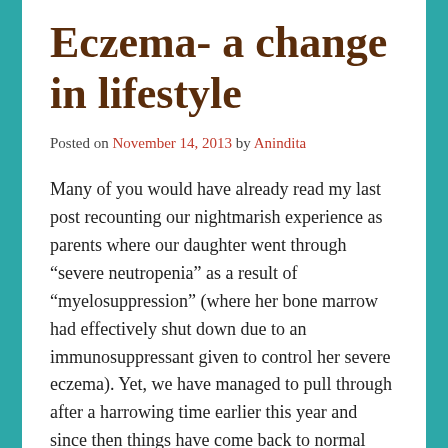Eczema- a change in lifestyle
Posted on November 14, 2013 by Anindita
Many of you would have already read my last post recounting our nightmarish experience as parents where our daughter went through “severe neutropenia” as a result of “myelosuppression” (where her bone marrow had effectively shut down due to an immunosuppressant given to control her severe eczema). Yet, we have managed to pull through after a harrowing time earlier this year and since then things have come back to normal (well almost). I have mentioned briefly in my